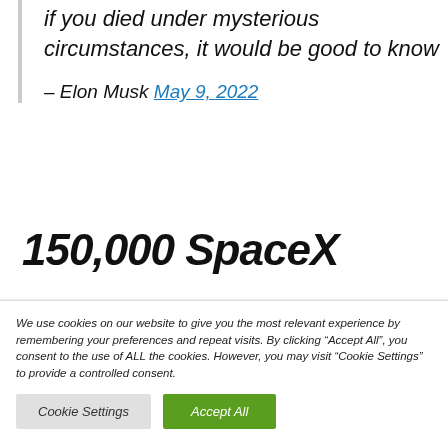if you died under mysterious circumstances, it would be good to know
– Elon Musk May 9, 2022
150,000 SpaceX
We use cookies on our website to give you the most relevant experience by remembering your preferences and repeat visits. By clicking "Accept All", you consent to the use of ALL the cookies. However, you may visit "Cookie Settings" to provide a controlled consent.